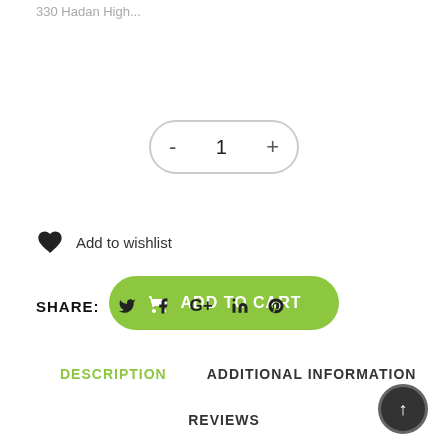330 Hadan High...
- 1 +
ADD TO CART
Add to wishlist
SHARE:
DESCRIPTION
ADDITIONAL INFORMATION
REVIEWS